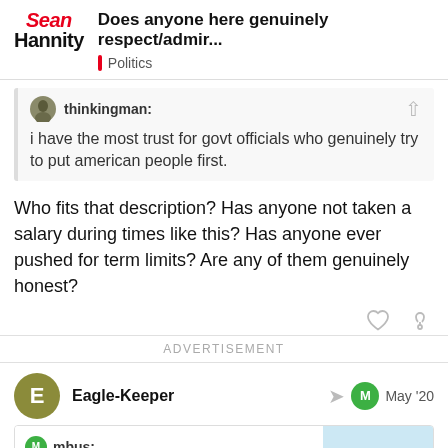Does anyone here genuinely respect/admir... | Politics
thinkingman:
i have the most trust for govt officials who genuinely try to put american people first.
Who fits that description? Has anyone not taken a salary during times like this? Has anyone ever pushed for term limits? Are any of them genuinely honest?
ADVERTISEMENT
Eagle-Keeper  May '20
mbus:
Yes
16 / 77